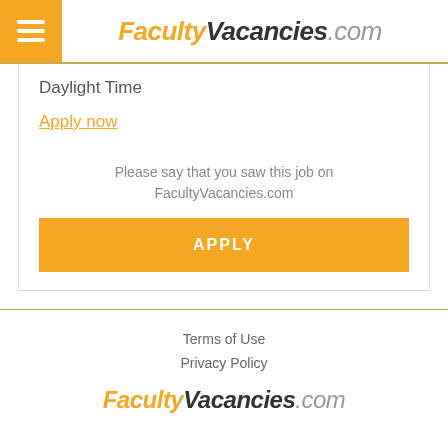FacultyVacancies.com
Daylight Time
Apply now
Please say that you saw this job on FacultyVacancies.com
APPLY
Terms of Use
Privacy Policy
FacultyVacancies.com